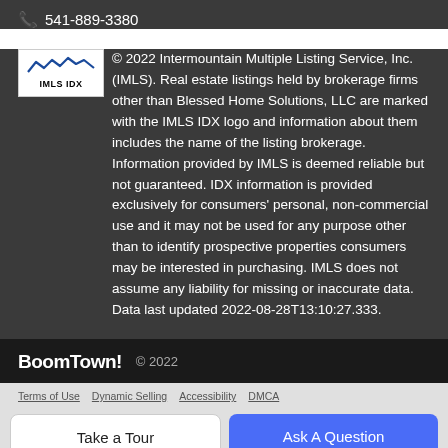541-889-3380
© 2022 Intermountain Multiple Listing Service, Inc. (IMLS). Real estate listings held by brokerage firms other than Blessed Home Solutions, LLC are marked with the IMLS IDX logo and information about them includes the name of the listing brokerage. Information provided by IMLS is deemed reliable but not guaranteed. IDX information is provided exclusively for consumers' personal, non-commercial use and it may not be used for any purpose other than to identify prospective properties consumers may be interested in purchasing. IMLS does not assume any liability for missing or inaccurate data. Data last updated 2022-08-28T13:10:27.333.
BoomTown! © 2022
Terms of Use   Dynamic Selling   Accessibility   DMCA
Take a Tour
Ask A Question